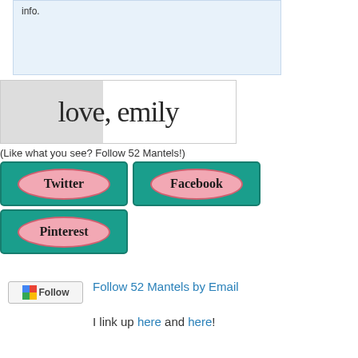info.
[Figure (illustration): Love, emily signature logo with grey background on left half and white on right]
(Like what you see? Follow 52 Mantels!)
[Figure (illustration): Twitter social media button with teal floral border and pink oval]
[Figure (illustration): Facebook social media button with teal floral border and pink oval]
[Figure (illustration): Pinterest social media button with teal floral border and pink oval]
[Figure (screenshot): Google Follow button widget]
Follow 52 Mantels by Email
I link up here and here!